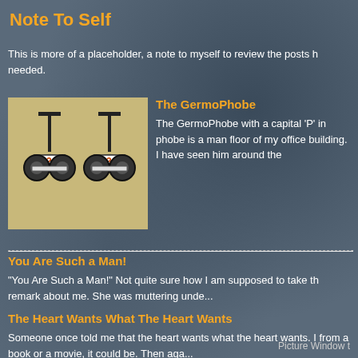Note To Self
This is more of a placeholder, a note to myself to review the posts h needed.
[Figure (illustration): Two segway/scooter vehicles numbered 2 and 3 on a tan/beige background]
The GermoPhobe
The GermoPhobe with a capital 'P' in phobe is a man floor of my office building. I have seen him around the
You Are Such a Man!
"You Are Such a Man!" Not quite sure how I am supposed to take th remark about me. She was muttering unde...
The Heart Wants What The Heart Wants
Someone once told me that the heart wants what the heart wants. I from a book or a movie, it could be. Then aga...
Picture Window t